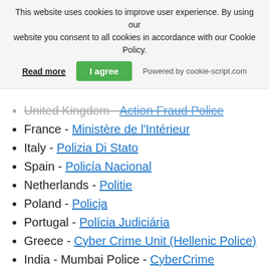This website uses cookies to improve user experience. By using our website you consent to all cookies in accordance with our Cookie Policy.
Read more | I agree | Powered by cookie-script.com
United Kingdom - Action Fraud Police
France - Ministère de l'Intérieur
Italy - Polizia Di Stato
Spain - Policía Nacional
Netherlands - Politie
Poland - Policja
Portugal - Polícia Judiciária
Greece - Cyber Crime Unit (Hellenic Police)
India - Mumbai Police - CyberCrime Investigation Cell
Australia - Australian High Tech Crime Center
Reports may be responded to in different timeframes, depending on your local authorities.